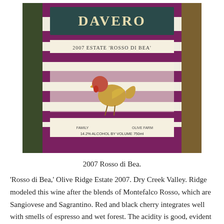[Figure (photo): Photo of a DaVero wine bottle label showing '2007 Estate Rosso di Bea', with a rooster illustration, purple and white stripes, and text '14.2% Alcohol by Volume 750ml']
2007 Rosso di Bea.
'Rosso di Bea,' Olive Ridge Estate 2007. Dry Creek Valley. Ridge modeled this wine after the blends of Montefalco Rosso, which are Sangiovese and Sagrantino. Red and black cherry integrates well with smells of espresso and wet forest. The acidity is good, evident to me by flavors of tart blackberry and